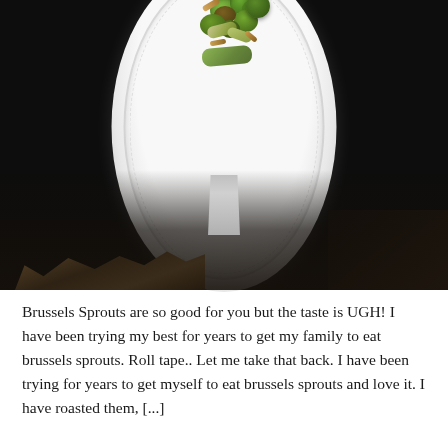[Figure (photo): A dark-background food photography shot showing roasted Brussels sprouts arranged on a white oval embossed ceramic plate. The plate is held up, revealing its stem/base, and the lower portion of the image shows dark tones with what appears to be hair or fabric.]
Brussels Sprouts are so good for you but the taste is UGH! I have been trying my best for years to get my family to eat brussels sprouts. Roll tape.. Let me take that back. I have been trying for years to get myself to eat brussels sprouts and love it. I have roasted them, [...]